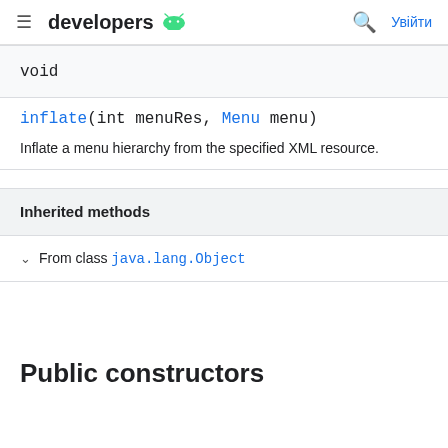developers [android logo] Увійти
void
inflate(int menuRes, Menu menu)
Inflate a menu hierarchy from the specified XML resource.
Inherited methods
From class java.lang.Object
Public constructors